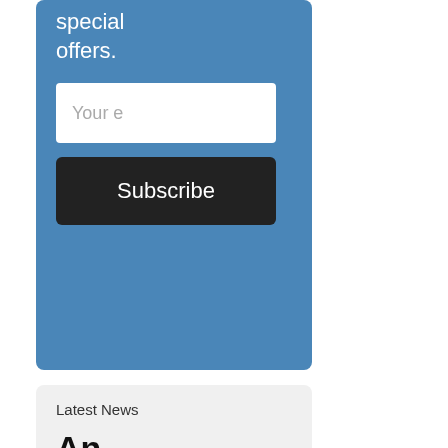special offers.
[Figure (screenshot): Email input field with placeholder text 'Your e']
[Figure (screenshot): Subscribe button with dark background and white text]
Latest News
An Open Call for Articles – Autumn '22 Series